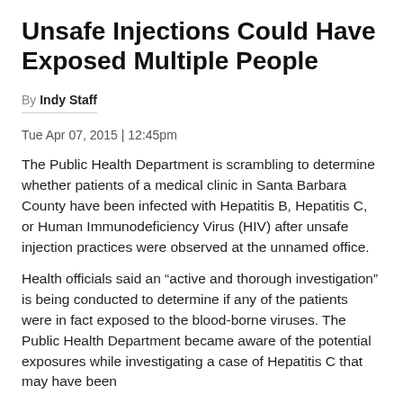Unsafe Injections Could Have Exposed Multiple People
By Indy Staff
Tue Apr 07, 2015 | 12:45pm
The Public Health Department is scrambling to determine whether patients of a medical clinic in Santa Barbara County have been infected with Hepatitis B, Hepatitis C, or Human Immunodeficiency Virus (HIV) after unsafe injection practices were observed at the unnamed office.
Health officials said an “active and thorough investigation” is being conducted to determine if any of the patients were in fact exposed to the blood-borne viruses. The Public Health Department became aware of the potential exposures while investigating a case of Hepatitis C that may have been